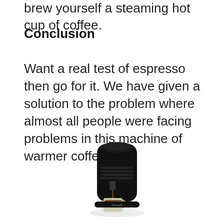brew yourself a steaming hot cup of coffee.
Conclusion
Want a real test of espresso then go for it. We have given a solution to the problem where almost all people were facing problems in this machine of warmer coffee.
[Figure (photo): A black Nespresso espresso machine (DeLonghi) dispensing coffee into a glass cup on a white background.]